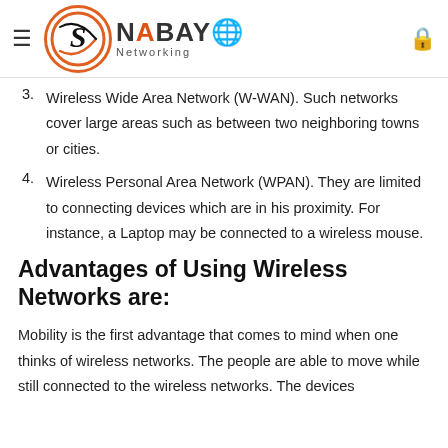SNABAYO Networking
3. Wireless Wide Area Network (W-WAN). Such networks cover large areas such as between two neighboring towns or cities.
4. Wireless Personal Area Network (WPAN). They are limited to connecting devices which are in his proximity. For instance, a Laptop may be connected to a wireless mouse.
Advantages of Using Wireless Networks are:
Mobility is the first advantage that comes to mind when one thinks of wireless networks. The people are able to move while still connected to the wireless networks. The devices